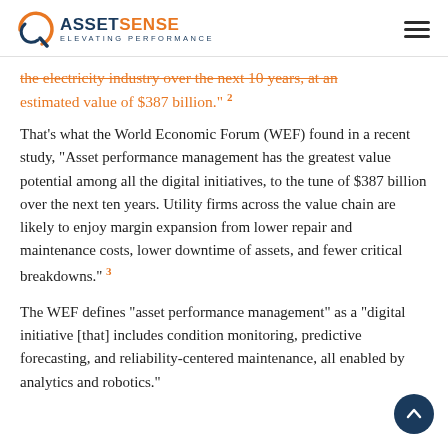ASSETSENSE Elevating Performance
the electricity industry over the next 10 years, at an estimated value of $387 billion." 2
That’s what the World Economic Forum (WEF) found in a recent study, “Asset performance management has the greatest value potential among all the digital initiatives, to the tune of $387 billion over the next ten years. Utility firms across the value chain are likely to enjoy margin expansion from lower repair and maintenance costs, lower downtime of assets, and fewer critical breakdowns.” 3
The WEF defines “asset performance management” as a “digital initiative [that] includes condition monitoring, predictive forecasting, and reliability-centered maintenance, all enabled by analytics and robotics.”